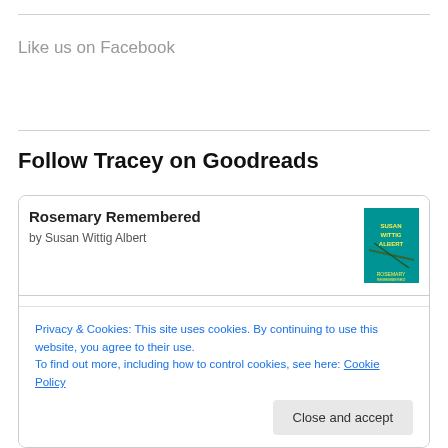Like us on Facebook
Follow Tracey on Goodreads
Rosemary Remembered
by Susan Wittig Albert
Hangman's Root
by Susan Wittig Albert
Privacy & Cookies: This site uses cookies. By continuing to use this website, you agree to their use.
To find out more, including how to control cookies, see here: Cookie Policy
Close and accept
From Blood and Ash
by Jennifer L. Armentrout